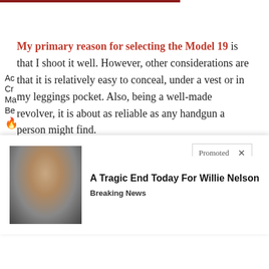My primary reason for selecting the Model 19 is that I shoot it well. However, other considerations are that it is relatively easy to conceal, under a vest or in my leggings pocket. Also, being a well-made revolver, it is about as reliable as any handgun a person might find.
Now, let me be clear. I am not suggesting th... ods
[Figure (photo): Aerial photo of what appears to be a coastline or water feature]
[Figure (photo): Close-up biological/medical image with a play button overlay]
Ac Cr Ma Be
[Figure (photo): Photo of Willie Nelson, an older man with long hair wearing dark clothing]
A Tragic End Today For Willie Nelson
Breaking News